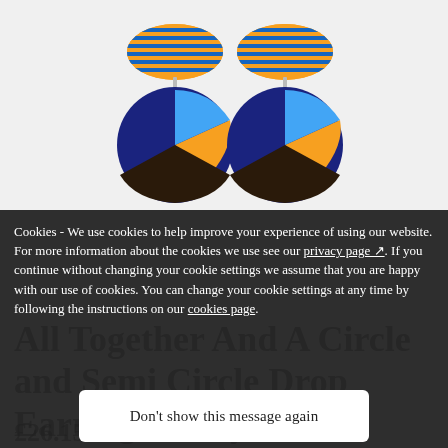[Figure (photo): A pair of colorful drop earrings with orange and blue-striped semicircle tops and large dark navy circular bottoms featuring orange and light blue geometric sections, displayed against a white background.]
Cookies - We use cookies to help improve your experience of using our website. For more information about the cookies we use see our privacy page. If you continue without changing your cookie settings we assume that you are happy with our use of cookies. You can change your cookie settings at any time by following the instructions on our cookies page.
All Together And A Circle and Semi Circle Drop Earrings, Navy
£26.15
Don't show this message again